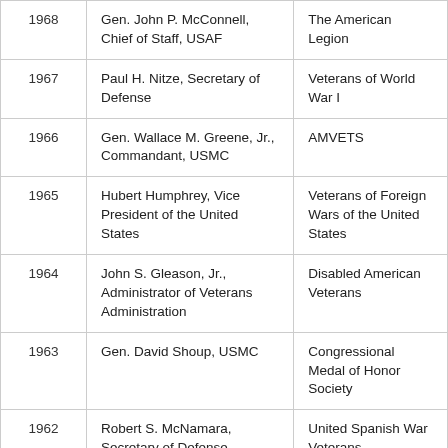| Year | Name/Title | Organization |
| --- | --- | --- |
| 1968 | Gen. John P. McConnell, Chief of Staff, USAF | The American Legion |
| 1967 | Paul H. Nitze, Secretary of Defense | Veterans of World War I |
| 1966 | Gen. Wallace M. Greene, Jr., Commandant, USMC | AMVETS |
| 1965 | Hubert Humphrey, Vice President of the United States | Veterans of Foreign Wars of the United States |
| 1964 | John S. Gleason, Jr., Administrator of Veterans Administration | Disabled American Veterans |
| 1963 | Gen. David Shoup, USMC | Congressional Medal of Honor Society |
| 1962 | Robert S. McNamara, Secretary of Defense | United Spanish War Veterans |
| 1961 | John F. Kennedy, President of the United States | Legion of Valor |
| 1960 | Gen. Lemuel Shepard, Jr., USMC | Marine Corps League |